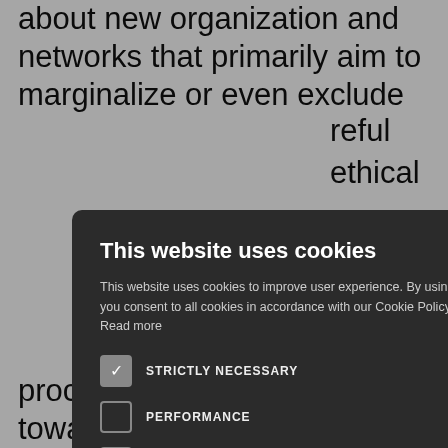about new organization and networks that primarily aim to marginalize or even exclude
[Figure (screenshot): Cookie consent modal dialog with dark background. Title: 'This website uses cookies'. Body text: 'This website uses cookies to improve user experience. By using our website you consent to all cookies in accordance with our Cookie Policy. Read more'. Checkboxes for: STRICTLY NECESSARY (checked), PERFORMANCE, TARGETING, UNCLASSIFIED. Buttons: ACCEPT ALL (green), DECLINE ALL (outlined). Show Details link with gear icon. Close X button in top right.]
careful ethical
med by a interactions ns and ognitive e role of r human the more omplements nology and eas and us levels, ons and
processes and contributing towards reaching